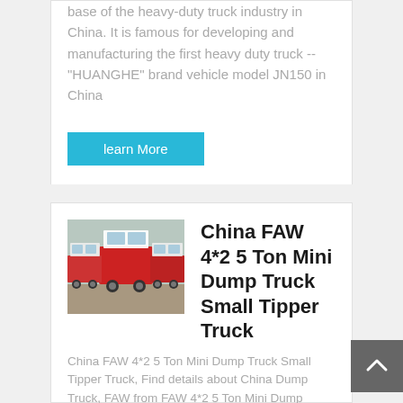base of the heavy-duty truck industry in China. It is famous for developing and manufacturing the first heavy duty truck -- "HUANGHE" brand vehicle model JN150 in China
learn More
[Figure (photo): Rows of heavy-duty trucks parked in a lot, viewed from behind, with red cabs and white trailers]
China FAW 4*2 5 Ton Mini Dump Truck Small Tipper Truck
China FAW 4*2 5 Ton Mini Dump Truck Small Tipper Truck, Find details about China Dump Truck, FAW from FAW 4*2 5 Ton Mini Dump Truck